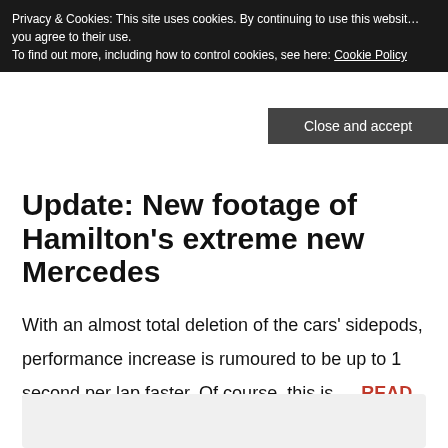Privacy & Cookies: This site uses cookies. By continuing to use this website, you agree to their use.
To find out more, including how to control cookies, see here: Cookie Policy
Close and accept
Update: New footage of Hamilton's extreme new Mercedes
With an almost total deletion of the cars' sidepods, performance increase is rumoured to be up to 1 second per lap faster. Of course, this is.... READ MORE ON THIS STORY